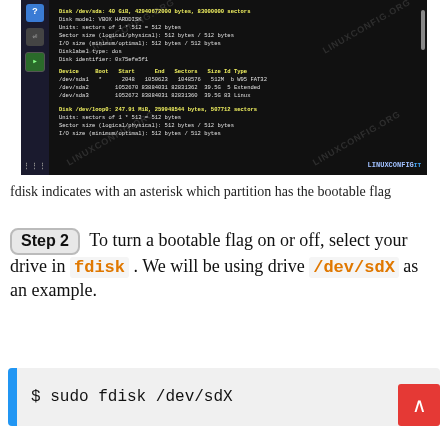[Figure (screenshot): Terminal window showing fdisk output with disk partition information. Shows /dev/sda partitions including /dev/sda1 with boot flag (*), /dev/sda2 Extended, /dev/sda3 Linux. Also shows /dev/loop0 disk info. Sidebar with icons on left, scrollbar on right.]
fdisk indicates with an asterisk which partition has the bootable flag
Step 2  To turn a bootable flag on or off, select your drive in fdisk . We will be using drive /dev/sdX as an example.
$ sudo fdisk /dev/sdX